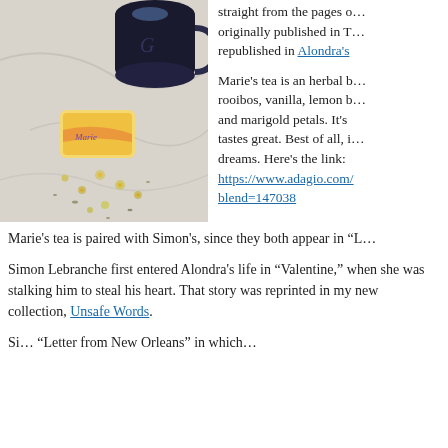[Figure (photo): Photo of a dark mug with letter G visible, alongside a small rectangular tea packet labeled 'Marie' with yellow/orange coloring, and scattered dried chamomile flowers on a marble surface.]
straight from the pages o... originally published in T... republished in Alondra's...
Marie’s tea is an herbal b... rooibos, vanilla, lemon b... and marigold petals. It’s... tastes great. Best of all, i... dreams. Here’s the link: https://www.adagio.com/... blend=147038
Marie’s tea is paired with Simon’s, since they both appear in “L...
Simon Lebranche first entered Alondra’s life in “Valentine,” when she was stalking him to steal his heart. That story was reprinted in my new collection, Unsafe Words.
Si... “Letter from New Orleans” in which...